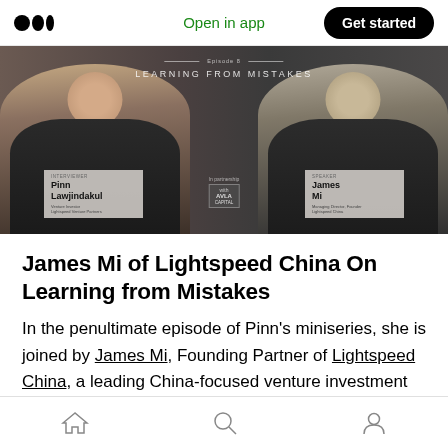Open in app | Get started
[Figure (photo): Podcast episode thumbnail showing two people: Pinn Lawjindakul (Venture Investor, Lightspeed Venture Partners) on the left and James Mi (Managing Director, Founder, Lightspeed China) on the right. Episode title overlay reads 'LEARNING FROM MISTAKES'. In partnership with [logo].]
James Mi of Lightspeed China On Learning from Mistakes
In the penultimate episode of Pinn's miniseries, she is joined by James Mi, Founding Partner of Lightspeed China, a leading China-focused venture investment firm with over $2 billion under
Home | Search | Profile